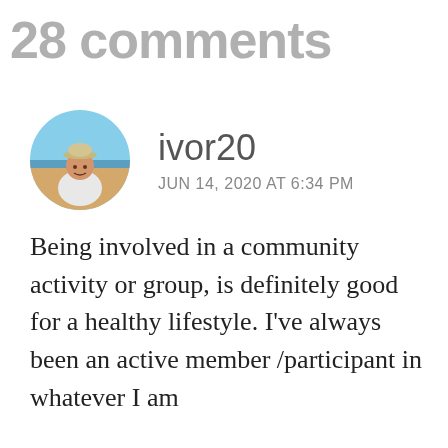28 comments
[Figure (photo): Circular avatar photo of user ivor20, showing a man in a white shirt and hat on a beach]
ivor20
JUN 14, 2020 AT 6:34 PM
Being involved in a community activity or group, is definitely good for a healthy lifestyle. I've always been an active member /participant in whatever I am